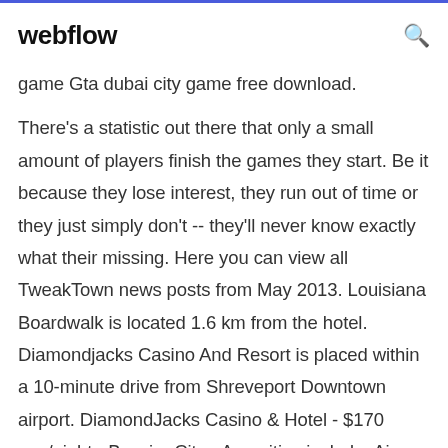webflow
game Gta dubai city game free download.
There's a statistic out there that only a small amount of players finish the games they start. Be it because they lose interest, they run out of time or they just simply don't -- they'll never know exactly what their missing. Here you can view all TweakTown news posts from May 2013. Louisiana Boardwalk is located 1.6 km from the hotel. Diamondjacks Casino And Resort is placed within a 10-minute drive from Shreveport Downtown airport. DiamondJacks Casino & Hotel - $170 avg/night - Bossier City - Amenities include: Air... mega-pin, http://www.oneclickonly.org/redirect.php?